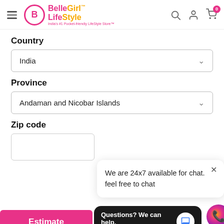[Figure (logo): BelleGirl LifeStyle logo with pink circle B icon and orange/pink text]
Country
India
Province
Andaman and Nicobar Islands
Zip code
We are 24x7 available for chat. feel free to chat
Estimate
Questions? We can help. Chat with us now.